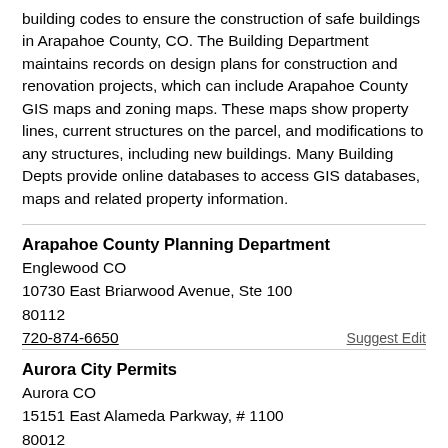building codes to ensure the construction of safe buildings in Arapahoe County, CO. The Building Department maintains records on design plans for construction and renovation projects, which can include Arapahoe County GIS maps and zoning maps. These maps show property lines, current structures on the parcel, and modifications to any structures, including new buildings. Many Building Depts provide online databases to access GIS databases, maps and related property information.
Arapahoe County Planning Department
Englewood CO
10730 East Briarwood Avenue, Ste 100
80112
720-874-6650
Suggest Edit
Aurora City Permits
Aurora CO
15151 East Alameda Parkway, # 1100
80012
303-739-7420
Suggest Edit
Aurora Planning De...